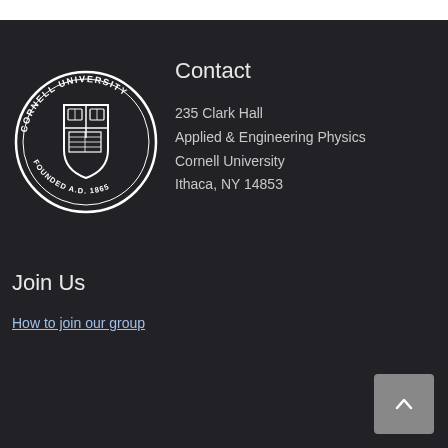[Figure (logo): Cornell University circular seal/logo with text 'CORNELL UNIVERSITY FOUNDED A.D. 1865' around the border and a shield in the center, white on dark background]
Contact
235 Clark Hall
Applied & Engineering Physics
Cornell University
Ithaca, NY 14853
Join Us
How to join our group